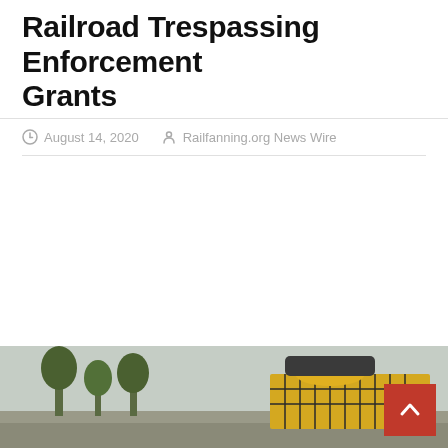Railroad Trespassing Enforcement Grants
August 14, 2020   Railfanning.org News Wire
[Figure (photo): Partial photo of a railroad scene showing trees on the left and a yellow train car on the right against an overcast sky, partially cut off at bottom of page.]